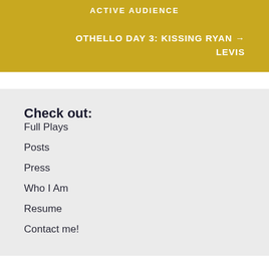ACTIVE AUDIENCE
OTHELLO DAY 3: KISSING RYAN LEVIS →
Check out:
Full Plays
Posts
Press
Who I Am
Resume
Contact me!